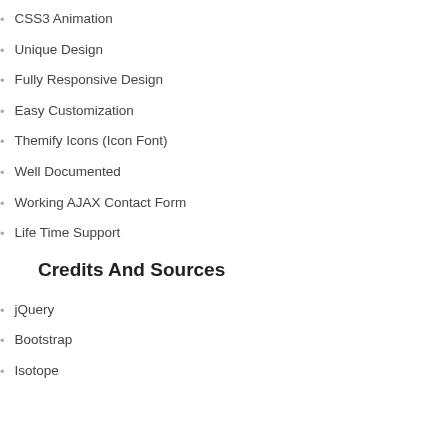CSS3 Animation
Unique Design
Fully Responsive Design
Easy Customization
Themify Icons (Icon Font)
Well Documented
Working AJAX Contact Form
Life Time Support
Credits And Sources
jQuery
Bootstrap
Isotope